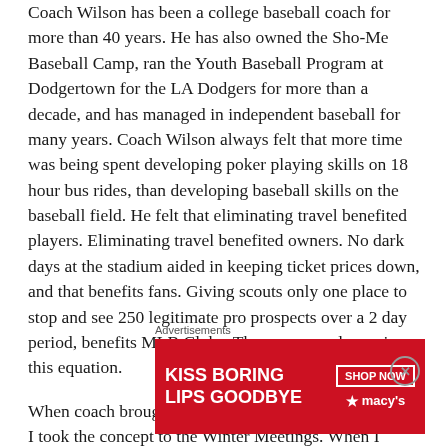Coach Wilson has been a college baseball coach for more than 40 years. He has also owned the Sho-Me Baseball Camp, ran the Youth Baseball Program at Dodgertown for the LA Dodgers for more than a decade, and has managed in independent baseball for many years. Coach Wilson always felt that more time was being spent developing poker playing skills on 18 hour bus rides, than developing baseball skills on the baseball field. He felt that eliminating travel benefited players. Eliminating travel benefited owners. No dark days at the stadium aided in keeping ticket prices down, and that benefits fans. Giving scouts only one place to stop and see 250 legitimate pro prospects over a 2 day period, benefits MLB Clubs. There were no losers in this equation.
When coach brought the idea to me last year, I loved it. I took the concept to the Winter Meetings. When I talked to some
[Figure (other): Advertisement banner for Macy's with red background showing 'KISS BORING LIPS GOODBYE' text with a woman's face and lips, and a 'SHOP NOW' button with the Macy's star logo.]